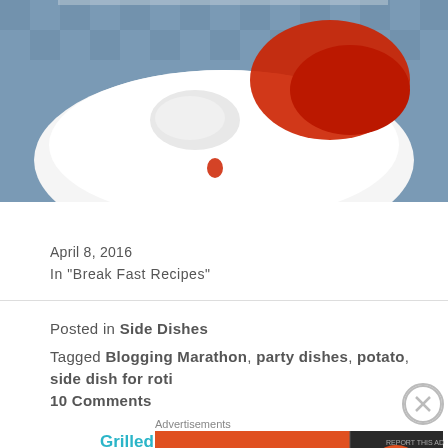[Figure (photo): Top portion of a white bowl containing what appears to be red sauce/ketchup and white cream/mayonnaise on a blue checkered cloth background]
Grilled Cheese Sandwich
April 8, 2016
In "Break Fast Recipes"
Posted in Side Dishes
Tagged Blogging Marathon, party dishes, potato, side dish for roti
10 Comments
Advertisements
[Figure (screenshot): DuckDuckGo advertisement banner: Search, browse, and email with more privacy. All in One Free App]